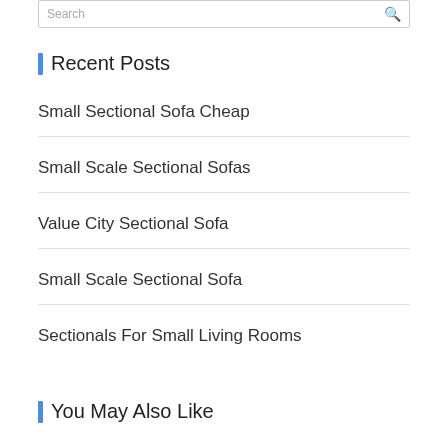Recent Posts
Small Sectional Sofa Cheap
Small Scale Sectional Sofas
Value City Sectional Sofa
Small Scale Sectional Sofa
Sectionals For Small Living Rooms
You May Also Like